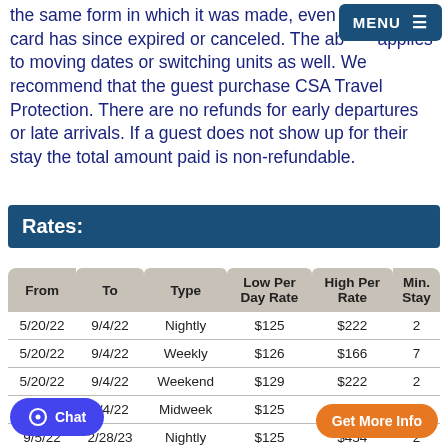the same form in which it was made, even if a credit card has since expired or canceled. The above applies to moving dates or switching units as well. We recommend that the guest purchase CSA Travel Protection. There are no refunds for early departures or late arrivals. If a guest does not show up for their stay the total amount paid is non-refundable.
Rates:
| From | To | Type | Low Per Day Rate | High Per Rate | Min. Stay |
| --- | --- | --- | --- | --- | --- |
| 5/20/22 | 9/4/22 | Nightly | $125 | $222 | 2 |
| 5/20/22 | 9/4/22 | Weekly | $126 | $166 | 7 |
| 5/20/22 | 9/4/22 | Weekend | $129 | $222 | 2 |
| 5/20/22 | 9/4/22 | Midweek | $125 | $125 | 2 |
| 9/5/22 | 2/28/23 | Nightly | $125 | $454 | 2 |
| 9/5/22 | 2/28/23 | Weekly | $125 | $433 | 7 |
| 9/5/22 | 2/28/23 | Monthly | $72 |  |  |
| 9/5/22 | 2/28/23 | Weekend | $125 | $454 | 2 |
| 9/5/22 | 2/28/23 | Midweek | $107 | $494 | 2 |